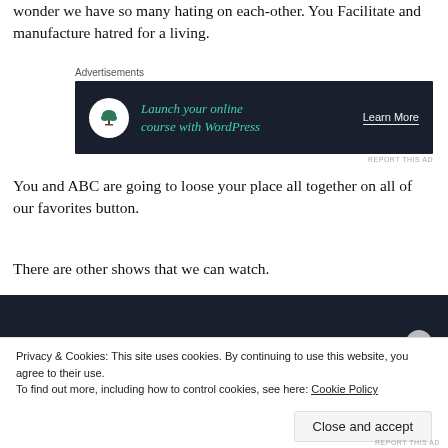wonder we have so many hating on each-other. You Facilitate and manufacture hatred for a living.
[Figure (screenshot): Advertisement banner with dark background: bonsai tree icon, teal italic text 'Launch your online course with WordPress', and 'Learn More' link in white]
You and ABC are going to loose your place all together on all of our favorites button.
There are other shows that we can watch.
[Figure (screenshot): Dark video player block]
Privacy & Cookies: This site uses cookies. By continuing to use this website, you agree to their use.
To find out more, including how to control cookies, see here: Cookie Policy
Close and accept